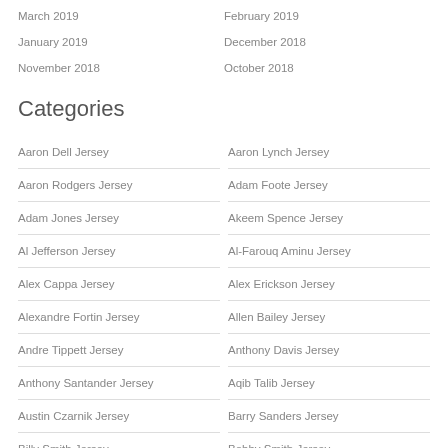March 2019
February 2019
January 2019
December 2018
November 2018
October 2018
Categories
Aaron Dell Jersey
Aaron Lynch Jersey
Aaron Rodgers Jersey
Adam Foote Jersey
Adam Jones Jersey
Akeem Spence Jersey
Al Jefferson Jersey
Al-Farouq Aminu Jersey
Alex Cappa Jersey
Alex Erickson Jersey
Alexandre Fortin Jersey
Allen Bailey Jersey
Andre Tippett Jersey
Anthony Davis Jersey
Anthony Santander Jersey
Aqib Talib Jersey
Austin Czarnik Jersey
Barry Sanders Jersey
Billy Smith Jersey
Bobby Smith Jersey